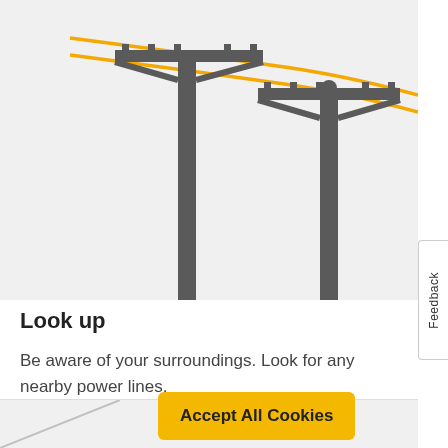[Figure (illustration): Illustration of two utility power line poles with orange/yellow electrical wires strung between them, on a light gray background.]
Look up
Be aware of your surroundings. Look for any nearby power lines.
[Figure (other): Accept All Cookies button (yellow/amber rounded rectangle) overlaying the page.]
[Figure (other): Partial gray section at bottom of page with a diagonal line suggesting another power pole illustration.]